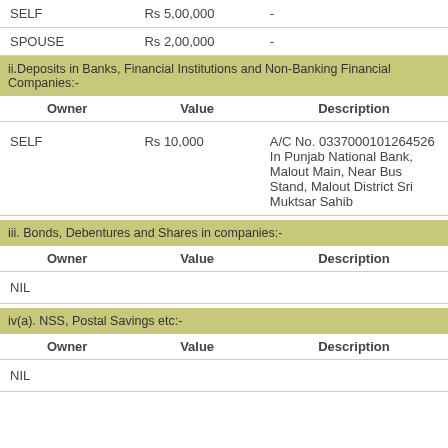| Owner | Value | Description |
| --- | --- | --- |
| SELF | Rs 5,00,000 | - |
| SPOUSE | Rs 2,00,000 | - |
ii.Deposits in Banks, Financial Institutions and Non-Banking Financial Companies:-
| Owner | Value | Description |
| --- | --- | --- |
| SELF | Rs 10,000 | A/C No. 0337000101264526 In Punjab National Bank, Malout Main, Near Bus Stand, Malout District Sri Muktsar Sahib |
iii. Bonds, Debentures and Shares in companies:-
| Owner | Value | Description |
| --- | --- | --- |
| NIL |  |  |
iv(a). NSS, Postal Savings etc:-
| Owner | Value | Description |
| --- | --- | --- |
| NIL |  |  |